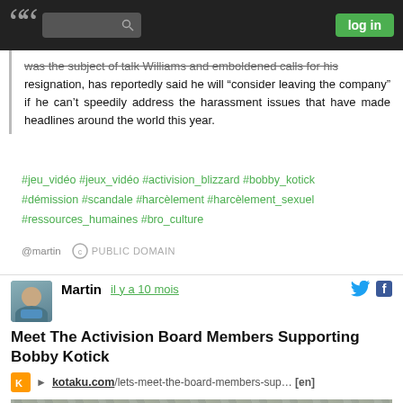log in
was the subject of talk Williams and emboldened calls for his resignation, has reportedly said he will "consider leaving the company" if he can't speedily address the harassment issues that have made headlines around the world this year.
#jeu_vidéo #jeux_vidéo #activision_blizzard #bobby_kotick #démission #scandale #harcèlement #harcèlement_sexuel #ressources_humaines #bro_culture
@martin  PUBLIC DOMAIN
Martin   il y a 10 mois
Meet The Activision Board Members Supporting Bobby Kotick
kotaku.com/lets-meet-the-board-members-sup… [en]
[Figure (photo): Photo of a smiling middle-aged man in front of a stone wall background]